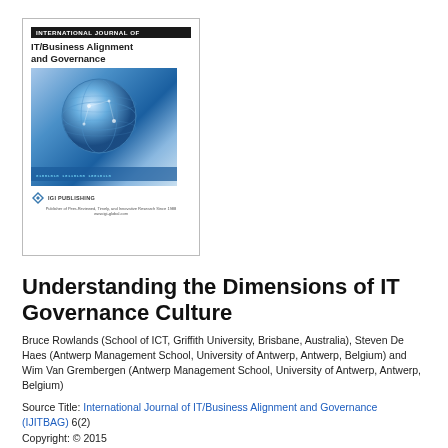[Figure (illustration): Journal cover of International Journal of IT/Business Alignment and Governance, featuring a globe with network connections on a blue background, IGI Publishing logo at bottom]
Understanding the Dimensions of IT Governance Culture
Bruce Rowlands (School of ICT, Griffith University, Brisbane, Australia), Steven De Haes (Antwerp Management School, University of Antwerp, Antwerp, Belgium) and Wim Van Grembergen (Antwerp Management School, University of Antwerp, Antwerp, Belgium)
Source Title: International Journal of IT/Business Alignment and Governance (IJITBAG) 6(2)
Copyright: © 2015
Pages: 11
DOI: 10.4018/IJITBAG.2015070104